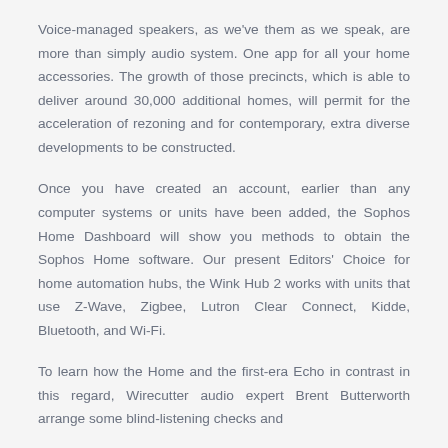Voice-managed speakers, as we've them as we speak, are more than simply audio system. One app for all your home accessories. The growth of those precincts, which is able to deliver around 30,000 additional homes, will permit for the acceleration of rezoning and for contemporary, extra diverse developments to be constructed.
Once you have created an account, earlier than any computer systems or units have been added, the Sophos Home Dashboard will show you methods to obtain the Sophos Home software. Our present Editors' Choice for home automation hubs, the Wink Hub 2 works with units that use Z-Wave, Zigbee, Lutron Clear Connect, Kidde, Bluetooth, and Wi-Fi.
To learn how the Home and the first-era Echo in contrast in this regard, Wirecutter audio expert Brent Butterworth arrange some blind-listening checks and